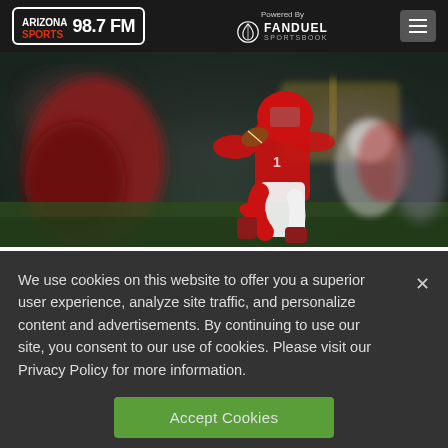Arizona Sports 98.7 FM — Powered By FanDuel Sportsbook
[Figure (photo): Arizona Cardinals quarterback running with football on NFL field, blurred action shot]
We use cookies on this website to offer you a superior user experience, analyze site traffic, and personalize content and advertisements. By continuing to use our site, you consent to our use of cookies. Please visit our Privacy Policy for more information.
Accept Cookies